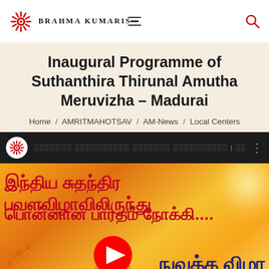Brahma Kumaris
Inaugural Programme of Suthanthira Thirunal Amutha Meruvizha – Madurai
Home / AMRITMAHOTSAV / AM-News / Local Centers
[Figure (screenshot): Dark video bar with Brahma Kumaris logo and Tamil text video title thumbnail]
[Figure (photo): Tamil language banner with orange/golden gradient background showing Tamil text: இந்திய சுதந்திர பவளவிழாவிலிருந்து பொன்னான பாரதம் நோக்கி.... and நுவக்க விழா with YouTube play button]